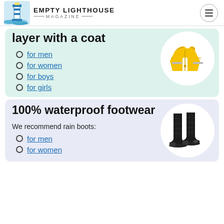EMPTY LIGHTHOUSE MAGAZINE
layer with a coat
for men
for women
for boys
for girls
[Figure (photo): Yellow rain jacket]
100% waterproof footwear
We recommend rain boots:
for men
for women
[Figure (photo): Black rain boots]